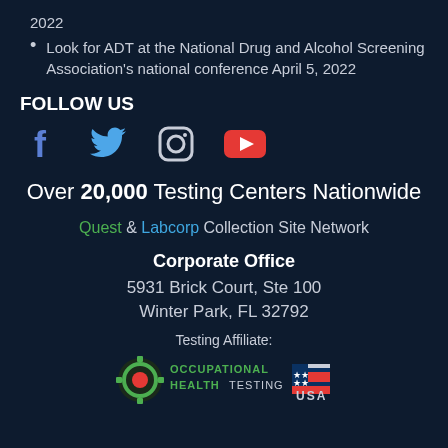2022
Look for ADT at the National Drug and Alcohol Screening Association's national conference April 5, 2022
FOLLOW US
[Figure (other): Social media icons: Facebook (blue f), Twitter (blue bird), Instagram (outlined camera), YouTube (red play button)]
Over 20,000 Testing Centers Nationwide
Quest & Labcorp Collection Site Network
Corporate Office
5931 Brick Court, Ste 100
Winter Park, FL 32792
Testing Affiliate:
[Figure (logo): Occupational Health Testing USA logo with green gear/target icon and USA flag graphic]